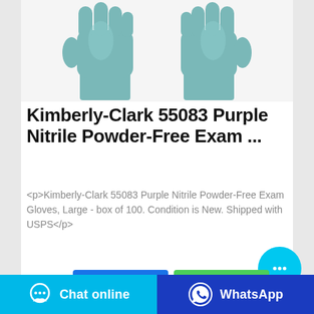[Figure (photo): Two teal/blue-green nitrile exam gloves shown upright side by side against a light background]
Kimberly-Clark 55083 Purple Nitrile Powder-Free Exam ...
<p>Kimberly-Clark 55083 Purple Nitrile Powder-Free Exam Gloves, Large - box of 100. Condition is New. Shipped with USPS</p>